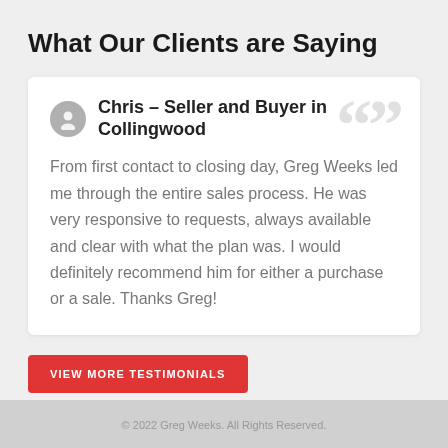What Our Clients are Saying
Chris – Seller and Buyer in Collingwood
From first contact to closing day, Greg Weeks led me through the entire sales process. He was very responsive to requests, always available and clear with what the plan was. I would definitely recommend him for either a purchase or a sale. Thanks Greg!
VIEW MORE TESTIMONIALS
© 2022 Greg Weeks. All Rights Reserved.